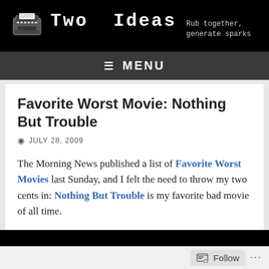Two Ideas — Rub together, generate sparks
≡ MENU
Favorite Worst Movie: Nothing But Trouble
JULY 28, 2009
The Morning News published a list of Favorite Worst Movies last Sunday, and I felt the need to throw my two cents in: Nothing But Trouble is my favorite bad movie of all time.
Follow